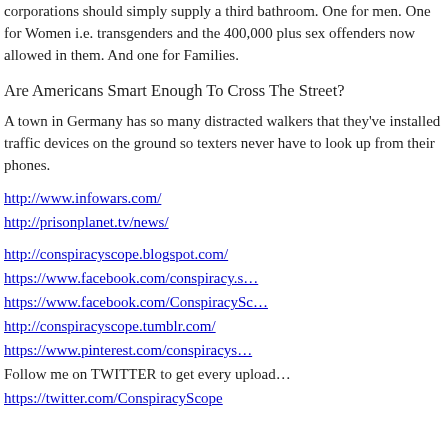corporations should simply supply a third bathroom. One for men. One for Women i.e. transgenders and the 400,000 plus sex offenders now allowed in them. And one for Families.
Are Americans Smart Enough To Cross The Street?
A town in Germany has so many distracted walkers that they've installed traffic devices on the ground so texters never have to look up from their phones.
http://www.infowars.com/
http://prisonplanet.tv/news/
http://conspiracyscope.blogspot.com/
https://www.facebook.com/conspiracy.s…
https://www.facebook.com/ConspiracySc…
http://conspiracyscope.tumblr.com/
https://www.pinterest.com/conspiracys…
Follow me on TWITTER to get every upload…
https://twitter.com/ConspiracyScope